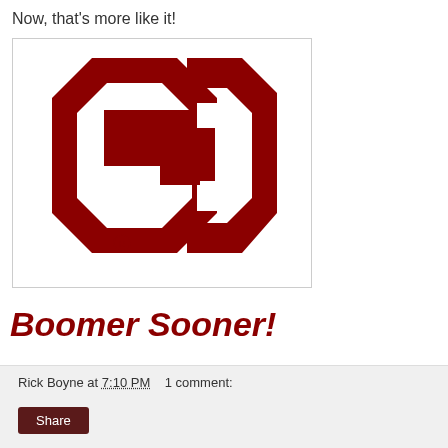Now, that's more like it!
[Figure (logo): University of Oklahoma OU interlocking logo in dark red/crimson on white background with registered trademark symbol]
Boomer Sooner!
Rick Boyne at 7:10 PM    1 comment: